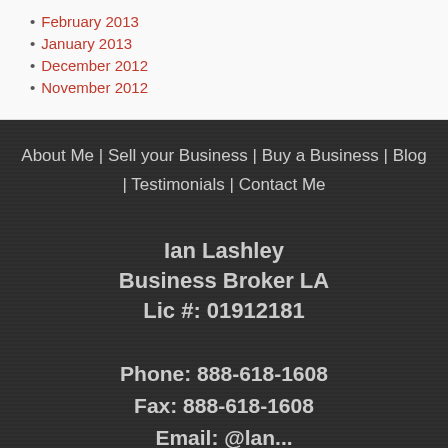February 2013
January 2013
December 2012
November 2012
About Me | Sell your Business | Buy a Business | Blog | Testimonials | Contact Me
Ian Lashley
Business Broker LA
Lic #: 01912181
Phone: 888-618-1608
Fax: 888-618-1608
Email: ...